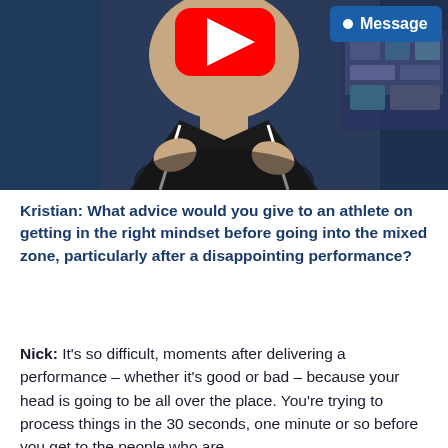[Figure (screenshot): Video thumbnail showing a man in a black polo shirt gesturing with his hands against a dark background. A YouTube play button logo is visible in the upper center, and a blue 'Message' button with a dot icon is in the upper right corner.]
Kristian: What advice would you give to an athlete on getting in the right mindset before going into the mixed zone, particularly after a disappointing performance?
Nick: It's so difficult, moments after delivering a performance – whether it's good or bad – because your head is going to be all over the place. You're trying to process things in the 30 seconds, one minute or so before you get to the people who are